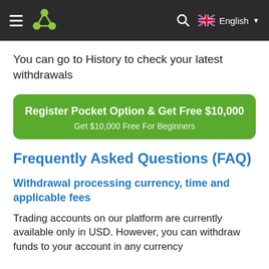☰  [logo]  English
You can go to History to check your latest withdrawals
[Figure (infographic): Green rounded banner: 'Register Pocket Option & Get Free $10,000' with subtitle 'Get $10,000 Free For Beginners']
Frequently Asked Questions (FAQ)
Withdrawal processing currency, time and applicable fees
Trading accounts on our platform are currently available only in USD. However, you can withdraw funds to your account in any currency